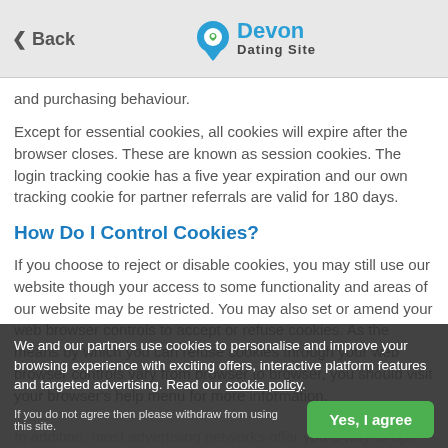Back | Devon Dating Site
and purchasing behaviour.
Except for essential cookies, all cookies will expire after the browser closes. These are known as session cookies. The login tracking cookie has a five year expiration and our own tracking cookie for partner referrals are valid for 180 days.
How Do I Control Cookies?
If you choose to reject or disable cookies, you may still use our website though your access to some functionality and areas of our website may be restricted. You may also set or amend your web browser controls to accept or refuse cookies. As the means by which you can refuse cookies through your web browser controls vary from browser to browser, you should visit your browser's help menu for more information.
In addition, most advertising networks offer you a way to opt out of targeted advertising. If you would like to find out more information,
We and our partners use cookies to personalise and improve your browsing experience with exciting offers, interactive platform features and targeted advertising. Read our cookie policy.
If you do not agree then please withdraw from using this site.